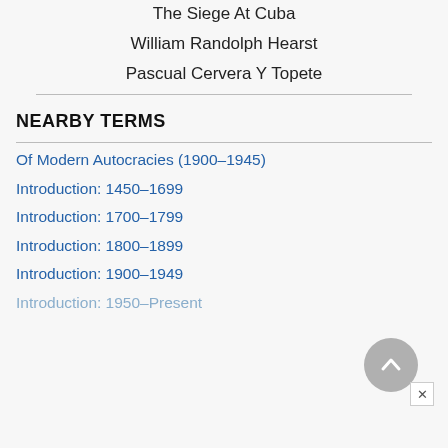The Siege At Cuba
William Randolph Hearst
Pascual Cervera Y Topete
NEARBY TERMS
Of Modern Autocracies (1900–1945)
Introduction: 1450–1699
Introduction: 1700–1799
Introduction: 1800–1899
Introduction: 1900–1949
Introduction: 1950–Present